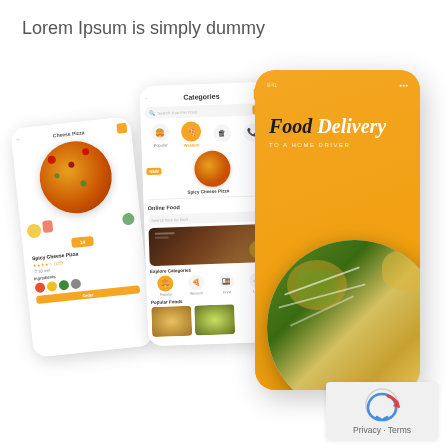Lorem Ipsum is simply dummy
[Figure (screenshot): Mobile app UI mockup showing three smartphone screens for a Food Delivery app. Left phone shows a pizza detail screen (Spicy Cheese Pizza), middle phone shows a Categories screen and an Online Food ordering screen with food images and categories, right phone shows a yellow splash/home screen with text 'Food Delivery to a Home Driver' and a salad/food image at the bottom.]
Privacy - Terms